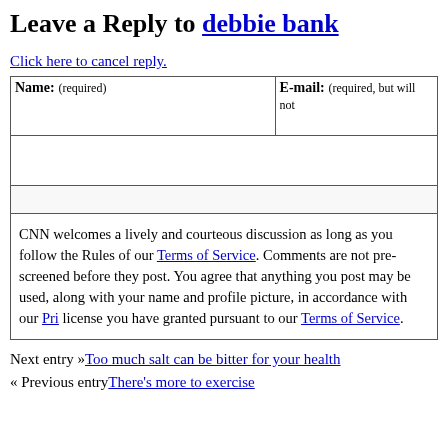Leave a Reply to debbie bank
Click here to cancel reply.
| Name: (required) | E-mail: (required, but will not be published) |
| --- | --- |
|  |  |
CNN welcomes a lively and courteous discussion as long as you follow the Rules of our Terms of Service. Comments are not pre-screened before they post. You agree that anything you post may be used, along with your name and profile picture, in accordance with our Privacy Policy and the license you have granted pursuant to our Terms of Service.
Next entry »Too much salt can be bitter for your health
« Previous entryThere's more to exercise